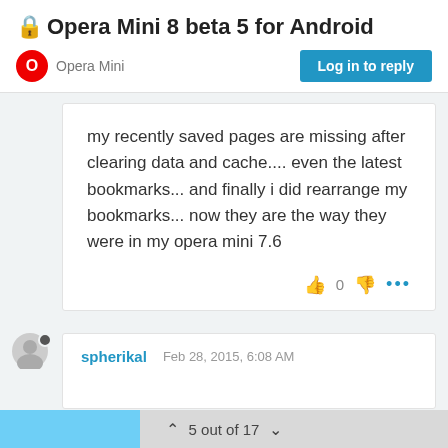Opera Mini 8 beta 5 for Android
Opera Mini
Log in to reply
my recently saved pages are missing after clearing data and cache.... even the latest bookmarks... and finally i did rearrange my bookmarks... now they are the way they were in my opera mini 7.6
0
spherikal
Feb 28, 2015, 6:08 AM
5 out of 17